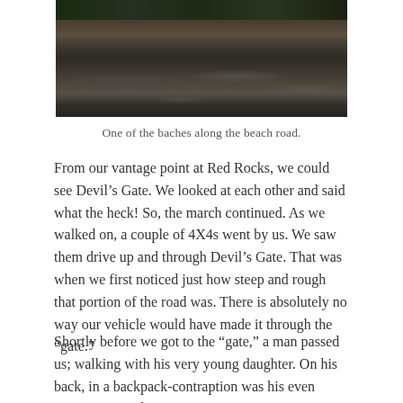[Figure (photo): Photograph of a rocky beach road area with dark gravel and stones, green vegetation visible at the top edge.]
One of the baches along the beach road.
From our vantage point at Red Rocks, we could see Devil’s Gate. We looked at each other and said what the heck! So, the march continued. As we walked on, a couple of 4X4s went by us. We saw them drive up and through Devil’s Gate. That was when we first noticed just how steep and rough that portion of the road was. There is absolutely no way our vehicle would have made it through the “gate.”
Shortly before we got to the “gate,” a man passed us; walking with his very young daughter. On his back, in a backpack-contraption was his even younger son. They